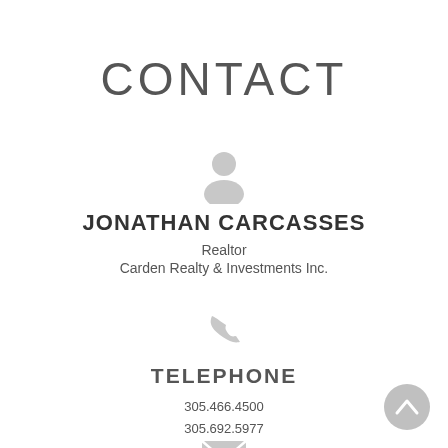CONTACT
[Figure (illustration): Gray person/user silhouette icon]
JONATHAN CARCASSES
Realtor
Carden Realty & Investments Inc.
[Figure (illustration): Gray telephone handset icon]
TELEPHONE
305.466.4500
305.692.5977
[Figure (illustration): Gray envelope/email icon]
EMAIL
[Figure (illustration): Gray circular scroll-to-top button with upward chevron]